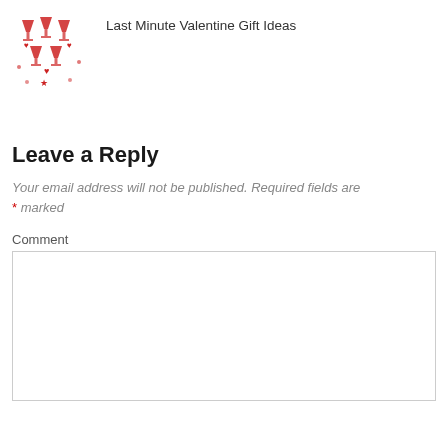[Figure (illustration): Small thumbnail image showing red martini glasses and heart shapes arranged in a pattern, resembling a Valentine's Day decorative illustration]
Last Minute Valentine Gift Ideas
Leave a Reply
Your email address will not be published. Required fields are * marked
Comment